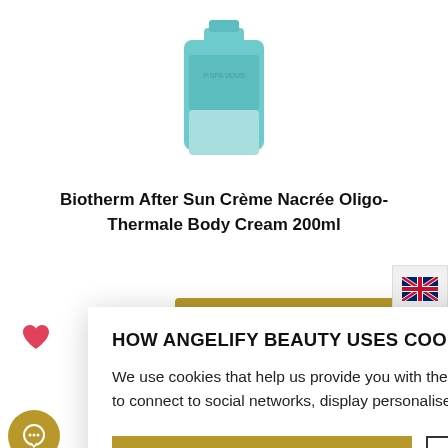[Figure (photo): Biotherm After Sun body cream product bottle in teal/mint color, partially visible at top of page]
Biotherm After Sun Crème Nacrée Oligo-Thermale Body Cream 200ml
[Figure (other): Gold/olive price button showing £24.65, partially visible]
HOW ANGELIFY BEAUTY USES COOKIES
We use cookies that help us provide you with the best possible shopping experience with us. For example, they allow us to connect to social networks, display personalised content, as well as analyse and improve the operation of our website.
ACCEPT ALL | COOKIE DETAILS